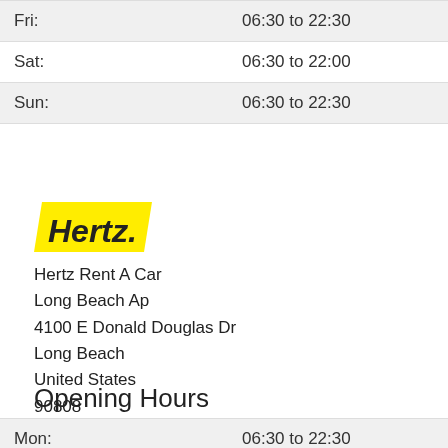| Fri: | 06:30 to 22:30 |
| Sat: | 06:30 to 22:00 |
| Sun: | 06:30 to 22:30 |
[Figure (logo): Hertz logo — yellow parallelogram background with bold black italic Hertz. text]
Hertz Rent A Car
Long Beach Ap
4100 E Donald Douglas Dr
Long Beach
United States
90808
Opening Hours
| Mon: | 06:30 to 22:30 |
| Tue: | 06:30 to 22:30 |